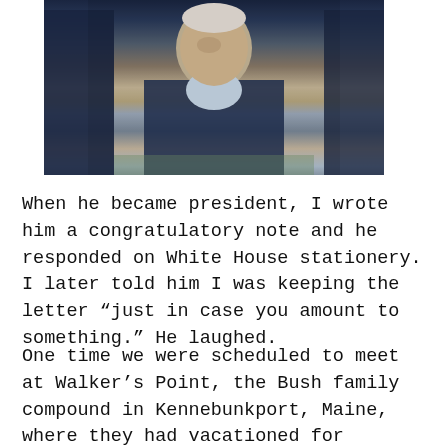[Figure (photo): Elderly man in dark blazer and light blue shirt, being assisted or supported by others in dark suits, photographed outdoors]
When he became president, I wrote him a congratulatory note and he responded on White House stationery. I later told him I was keeping the letter “just in case you amount to something.” He laughed.
One time we were scheduled to meet at Walker’s Point, the Bush family compound in Kennebunkport, Maine, where they had vacationed for decades. Mr. Bush had to cancel due to an unexpected visit from an ambassador.